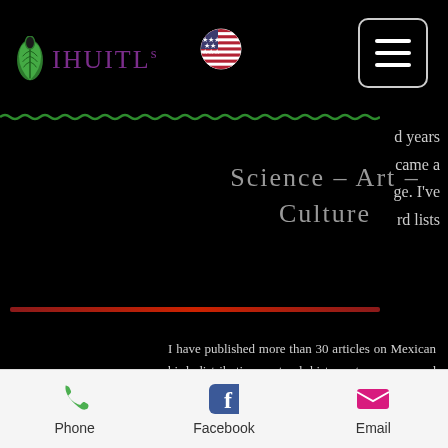IHUITL - Science - Art - Culture
d years came a ge. I've rd lists
Science – Art – Culture
I have published more than 30 articles on Mexican bird distribution, natural history, taxonomy, and conservation. I'm adept in identifying birds by their vocalizations. My work on bird songs has led to the elevation of the Nava's Wren to species status. I was involved in the rediscovery of the endangered Bearded Wood-Partridge in central Veracruz. I completed my PhD in ornithology from the National University of Mexico, specializing
Phone  Facebook  Email